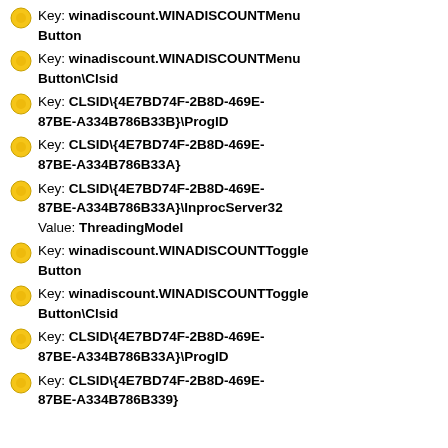Key: winadiscount.WINADISCOUNTMenuButton
Key: winadiscount.WINADISCOUNTMenuButton\Clsid
Key: CLSID\{4E7BD74F-2B8D-469E-87BE-A334B786B33B}\ProgID
Key: CLSID\{4E7BD74F-2B8D-469E-87BE-A334B786B33A}
Key: CLSID\{4E7BD74F-2B8D-469E-87BE-A334B786B33A}\InprocServer32 Value: ThreadingModel
Key: winadiscount.WINADISCOUNTToggleButton
Key: winadiscount.WINADISCOUNTToggleButton\Clsid
Key: CLSID\{4E7BD74F-2B8D-469E-87BE-A334B786B33A}\ProgID
Key: CLSID\{4E7BD74F-2B8D-469E-87BE-A334B786B339}